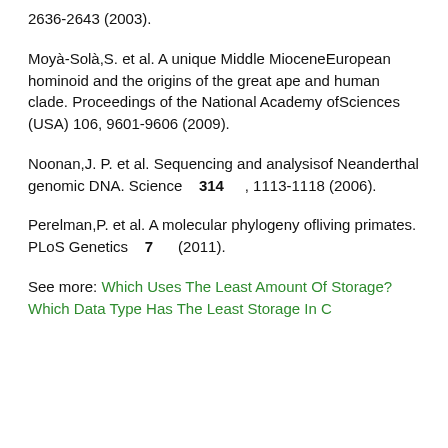2636-2643 (2003).
Moyà-Solà,S. et al. A unique Middle MioceneEuropean hominoid and the origins of the great ape and human clade. Proceedings of the National Academy ofSciences (USA) 106, 9601-9606 (2009).
Noonan,J. P. et al. Sequencing and analysisof Neanderthal genomic DNA. Science 314, 1113-1118 (2006).
Perelman,P. et al. A molecular phylogeny ofliving primates. PLoS Genetics 7 (2011).
See more: Which Uses The Least Amount Of Storage? Which Data Type Has The Least Storage In C